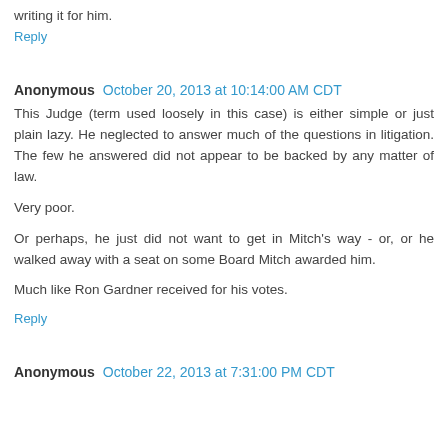writing it for him.
Reply
Anonymous  October 20, 2013 at 10:14:00 AM CDT
This Judge (term used loosely in this case) is either simple or just plain lazy. He neglected to answer much of the questions in litigation. The few he answered did not appear to be backed by any matter of law.
Very poor.
Or perhaps, he just did not want to get in Mitch's way - or, or he walked away with a seat on some Board Mitch awarded him.
Much like Ron Gardner received for his votes.
Reply
Anonymous  October 22, 2013 at 7:31:00 PM CDT